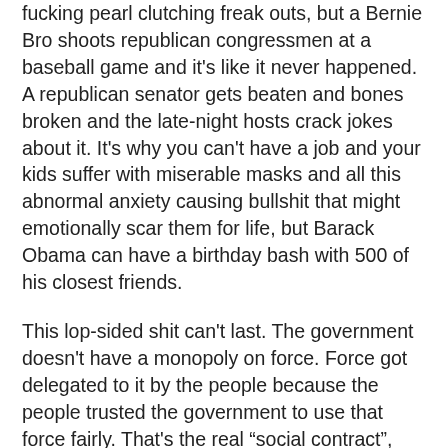fucking pearl clutching freak outs, but a Bernie Bro shoots republican congressmen at a baseball game and it's like it never happened. A republican senator gets beaten and bones broken and the late-night hosts crack jokes about it. It's why you can't have a job and your kids suffer with miserable masks and all this abnormal anxiety causing bullshit that might emotionally scar them for life, but Barack Obama can have a birthday bash with 500 of his closest friends.
This lop-sided shit can't last. The government doesn't have a monopoly on force. Force got delegated to it by the people because the people trusted the government to use that force fairly. That's the real “social contract”, and when it breaks bad things happen.
And for the fools cheering this madness on, we have this system for a reason. We have laws for a reason. We create laws the way we do for a reason. The founding fathers weren't stupid. They were smarter than you idiots. Quit trying to gut or